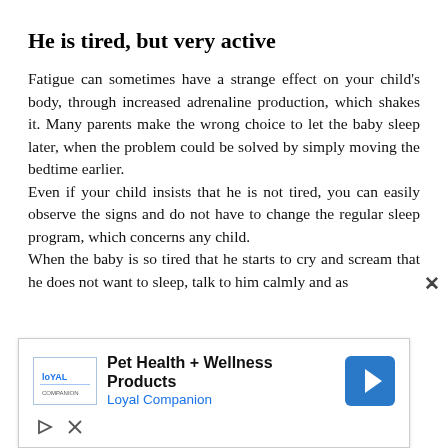He is tired, but very active
Fatigue can sometimes have a strange effect on your child's body, through increased adrenaline production, which shakes it. Many parents make the wrong choice to let the baby sleep later, when the problem could be solved by simply moving the bedtime earlier.
Even if your child insists that he is not tired, you can easily observe the signs and do not have to change the regular sleep program, which concerns any child.
When the baby is so tired that he starts to cry and scream that he does not want to sleep, talk to him calmly and as
[Figure (other): Advertisement banner for Pet Health + Wellness Products by Loyal Companion, with logo, navigation arrow icon, play and close controls]